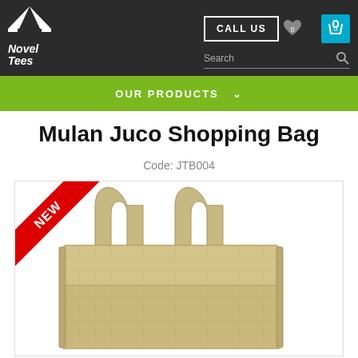[Figure (screenshot): Novel Tees website header with logo, CALL US button, heart and cart icons, and search bar on dark background]
[Figure (screenshot): Green navigation bar with OUR PRODUCTS and dropdown arrow]
Mulan Juco Shopping Bag
Code: JTB004
[Figure (photo): Product photo of a natural jute/juco shopping bag with handles, shown on white background with a red NEW ribbon badge in the top-left corner]